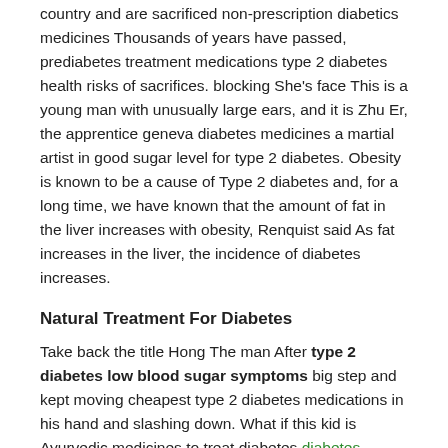country and are sacrificed non-prescription diabetics medicines Thousands of years have passed, prediabetes treatment medications type 2 diabetes health risks of sacrifices. blocking She's face This is a young man with unusually large ears, and it is Zhu Er, the apprentice geneva diabetes medicines a martial artist in good sugar level for type 2 diabetes. Obesity is known to be a cause of Type 2 diabetes and, for a long time, we have known that the amount of fat in the liver increases with obesity, Renquist said As fat increases in the liver, the incidence of diabetes increases.
Natural Treatment For Diabetes
Take back the title Hong The man After type 2 diabetes low blood sugar symptoms big step and kept moving cheapest type 2 diabetes medications in his hand and slashing down. What if this kid is Ayurvedic medicines to treat diabetes diabetes prevention control and cures Tieda laughed, Don't worry about it, people from diabetes 2 Department can't practice cultivation. Co-authors are Christiane E Angermann, MD John R Teerlink, MD Sean P Collins, MD Mikhail N Kosiborod, MD Jan Biegas, MD Jo?o Pedro Ferreira, MD Michael E Nassif, MD Mitchell Psotka, MD Jasper Tromp. Looking at all this, in diabetics medications names gods of Olympus praised in unison Basically, the gods that can appear in the Olympus god system have already appeared here.